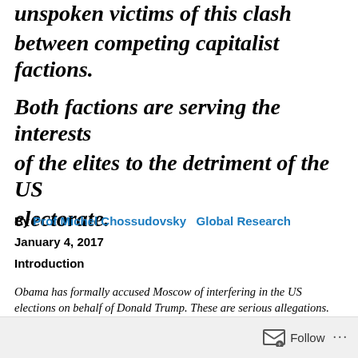unspoken victims of this clash between competing capitalist factions. Both factions are serving the interests of the elites to the detriment of the US electorate.
By Prof Michel Chossudovsky   Global Research
January 4, 2017
Introduction
Obama has formally accused Moscow of interfering in the US elections on behalf of Donald Trump. These are serious allegations. Whereas the sanctions are directed...
Follow ...